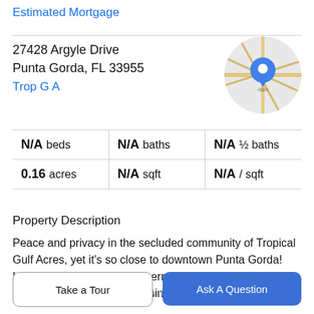Estimated Mortgage
27428 Argyle Drive
Punta Gorda, FL 33955
Trop G A
[Figure (map): Circular map thumbnail showing street map with blue location pin marker]
| N/A beds | N/A baths | N/A ½ baths |
| 0.16 acres | N/A sqft | N/A / sqft |
Property Description
Peace and privacy in the secluded community of Tropical Gulf Acres, yet it's so close to downtown Punta Gorda! Local favorites such as Fisherman Village and Laishley Crab House are just a few minutes away. Is accessibility a
must? US41, I75, & Allegiant Airlines hub are all also just a
Take a Tour
Ask A Question